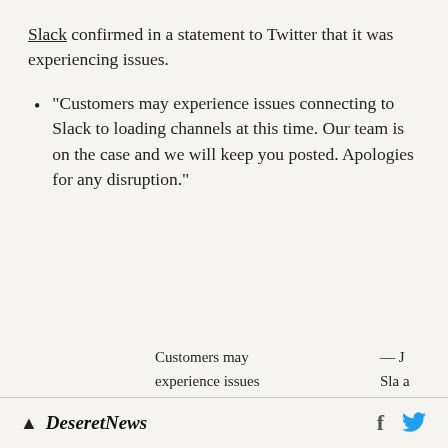Slack confirmed in a statement to Twitter that it was experiencing issues.
“Customers may experience issues connecting to Slack to loading channels at this time. Our team is on the case and we will keep you posted. Apologies for any disruption.”
[Figure (screenshot): Partial screenshot of a tweet showing text: 'Customers may experience issues connecting to Slack to loading channels' alongside partial text '— J Sla a ck n Sta u']
Deseret News  [facebook icon] [twitter icon]